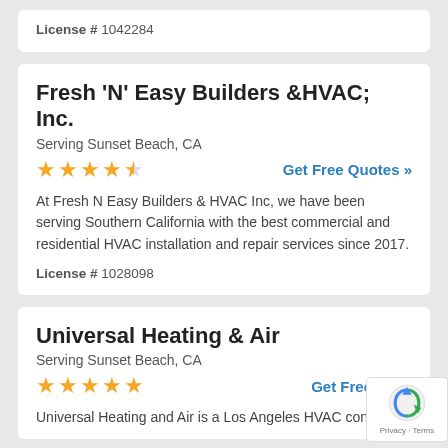License # 1042284
Fresh 'N' Easy Builders &HVAC; Inc.
Serving Sunset Beach, CA
★★★★½  Get Free Quotes »
At Fresh N Easy Builders & HVAC Inc, we have been serving Southern California with the best commercial and residential HVAC installation and repair services since 2017.
License # 1028098
Universal Heating & Air
Serving Sunset Beach, CA
★★★★★  Get Free Quotes »
Universal Heating and Air is a Los Angeles HVAC contractor.